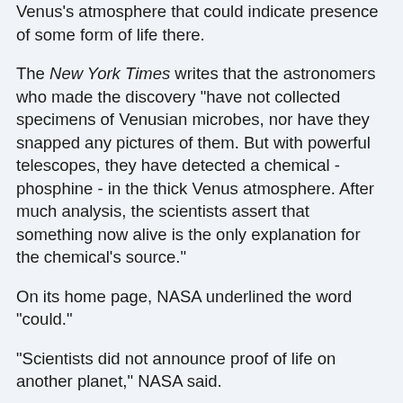Venus's atmosphere that could indicate presence of some form of life there.
The New York Times writes that the astronomers who made the discovery "have not collected specimens of Venusian microbes, nor have they snapped any pictures of them. But with powerful telescopes, they have detected a chemical - phosphine - in the thick Venus atmosphere. After much analysis, the scientists assert that something now alive is the only explanation for the chemical's source."
On its home page, NASA underlined the word "could."
"Scientists did not announce proof of life on another planet," NASA said.
"What they did find, however, is tantalizing in its potential meaning – though a great deal of work remains to rule out the possibility that the...